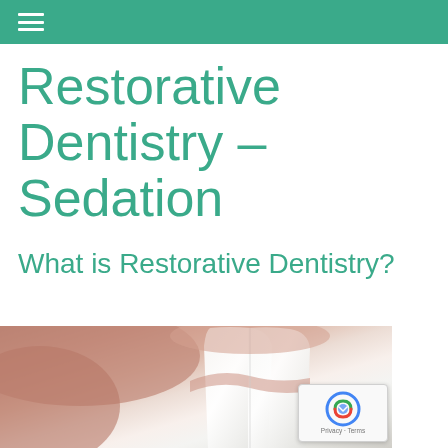≡
Restorative Dentistry – Sedation
What is Restorative Dentistry?
[Figure (photo): Close-up photograph of teeth showing dental restoration work, with pink gum tissue and white tooth crowns visible. A reCAPTCHA badge appears in the lower right corner.]